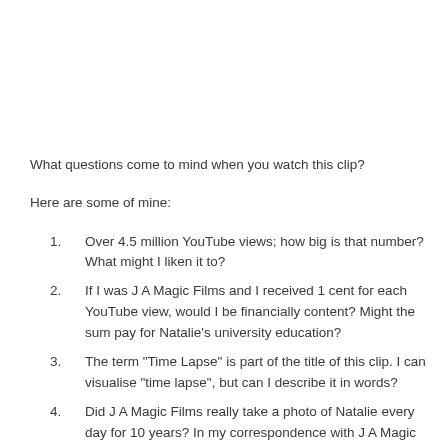What questions come to mind when you watch this clip?
Here are some of mine:
Over 4.5 million YouTube views; how big is that number? What might I liken it to?
If I was J A Magic Films and I received 1 cent for each YouTube view, would I be financially content? Might the sum pay for Natalie’s university education?
The term “Time Lapse” is part of the title of this clip. I can visualise “time lapse”, but can I describe it in words?
Did J A Magic Films really take a photo of Natalie every day for 10 years? In my correspondence with J A Magic Films, he explained that as Natalie got older it was more and more difficult to get a photo of her each day. He